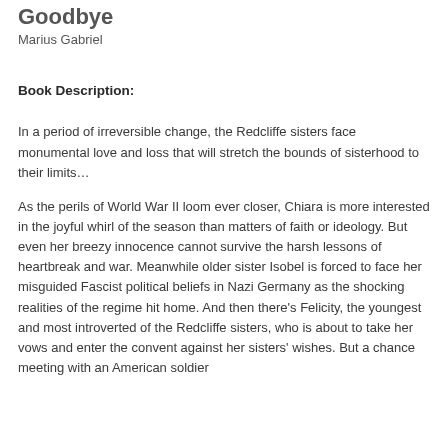Goodbye
Marius Gabriel
Book Description:
In a period of irreversible change, the Redcliffe sisters face monumental love and loss that will stretch the bounds of sisterhood to their limits…
As the perils of World War II loom ever closer, Chiara is more interested in the joyful whirl of the season than matters of faith or ideology. But even her breezy innocence cannot survive the harsh lessons of heartbreak and war. Meanwhile older sister Isobel is forced to face her misguided Fascist political beliefs in Nazi Germany as the shocking realities of the regime hit home. And then there's Felicity, the youngest and most introverted of the Redcliffe sisters, who is about to take her vows and enter the convent against her sisters' wishes. But a chance meeting with an American soldier